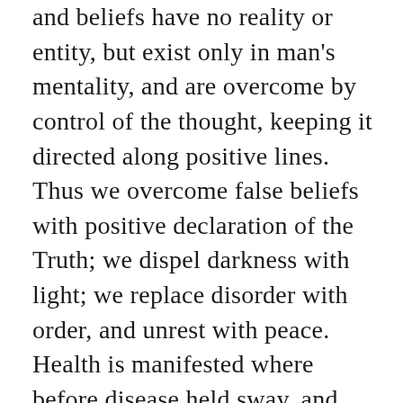and beliefs have no reality or entity, but exist only in man's mentality, and are overcome by control of the thought, keeping it directed along positive lines. Thus we overcome false beliefs with positive declaration of the Truth; we dispel darkness with light; we replace disorder with order, and unrest with peace. Health is manifested where before disease held sway, and Love shows forth instead of hatred.